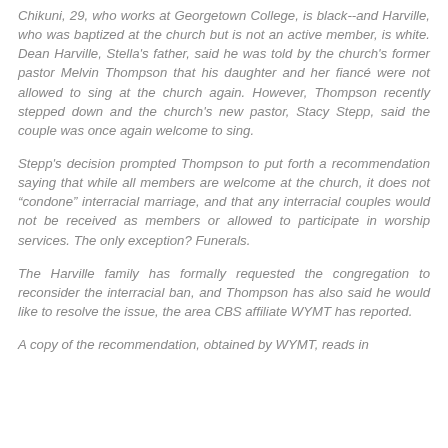Chikuni, 29, who works at Georgetown College, is black--and Harville, who was baptized at the church but is not an active member, is white. Dean Harville, Stella's father, said he was told by the church's former pastor Melvin Thompson that his daughter and her fiancé were not allowed to sing at the church again. However, Thompson recently stepped down and the church's new pastor, Stacy Stepp, said the couple was once again welcome to sing.
Stepp's decision prompted Thompson to put forth a recommendation saying that while all members are welcome at the church, it does not "condone" interracial marriage, and that any interracial couples would not be received as members or allowed to participate in worship services. The only exception? Funerals.
The Harville family has formally requested the congregation to reconsider the interracial ban, and Thompson has also said he would like to resolve the issue, the area CBS affiliate WYMT has reported.
A copy of the recommendation, obtained by WYMT, reads in